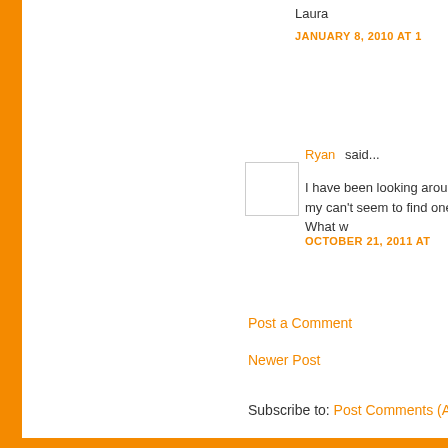Laura
JANUARY 8, 2010 AT 1
Ryan said...
I have been looking around my can't seem to find one. What w
OCTOBER 21, 2011 AT
Post a Comment
Newer Post
Subscribe to: Post Comments (Atom)